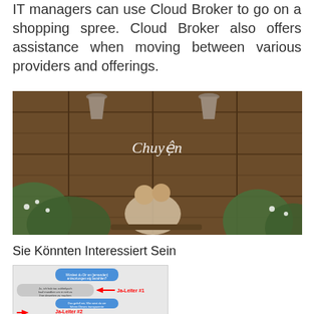IT managers can use Cloud Broker to go on a shopping spree. Cloud Broker also offers assistance when moving between various providers and offerings.
[Figure (photo): Outdoor romantic photo of a couple kissing near a rustic wooden wall with hanging pendant lights, lush greenery in the foreground, with cursive text overlay reading 'Chuyen']
Sie Könnten Interessiert Sein
[Figure (screenshot): Screenshot of a chat conversation with German text messages in blue speech bubbles, annotated with red arrows pointing to labels 'Ja-Leiter #1' and 'Ja-Leiter #2']